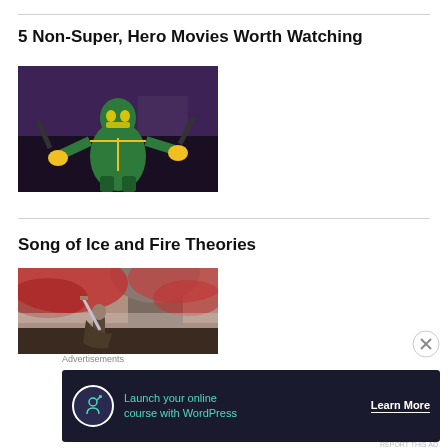5 Non-Super, Hero Movies Worth Watching
[Figure (photo): A superhero in a green and yellow costume with a skull-like mask, holding batons, in an action pose indoors.]
Song of Ice and Fire Theories
[Figure (photo): Fantasy artwork showing a warrior with a sword among red-leafed trees, mist and atmospheric forest background.]
Advertisements
[Figure (infographic): Advertisement banner: dark background with circle icon showing a person with arrow, teal text 'Launch your online course with WordPress', white 'Learn More' button text with underline.]